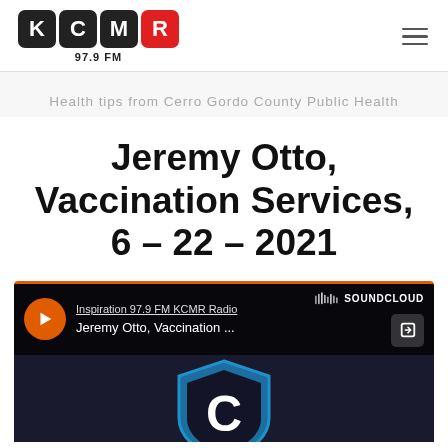KCMR 97.9 FM
Health tips from Cerro Gordo County Public Health
Jeremy Otto, Vaccination Services, 6 – 22 – 2021
[Figure (screenshot): SoundCloud embedded audio player showing 'Inspiration 97.9 FM KCMR Radio' station and 'Jeremy Otto, Vaccination ...' track, with play button and KCMR shield logo artwork in the background.]